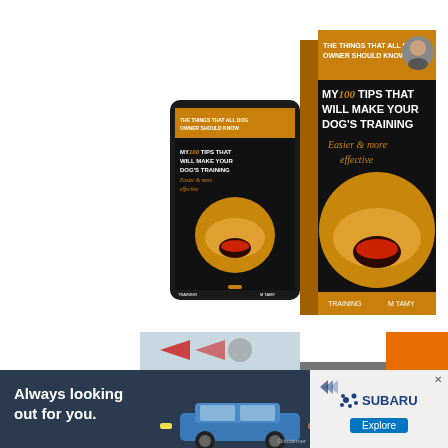[Figure (illustration): Book cover and tablet mockup for 'My 100 Tips That Will Make Your Dog's Training Easier & More Effective' by M Tamy. The book cover shows a golden retriever dog on a black background with orange and white text. A tablet device shows the same cover on its screen.]
DOWNLOAD ( FREE)
[Figure (photo): Subaru advertisement banner showing a blue Subaru car on a road with the text 'Always looking out for you.' on a dark background, and the Subaru logo with an Explore button on the right side.]